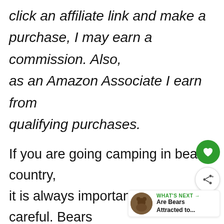click an affiliate link and make a purchase, I may earn a commission. Also, as an Amazon Associate I earn from qualifying purchases.
If you are going camping in bear country, it is always important to be careful. Bears can cause a lot of damage to your campsite, and worse still, they might even end up killing if they go on a rampage.
Think about the following example: